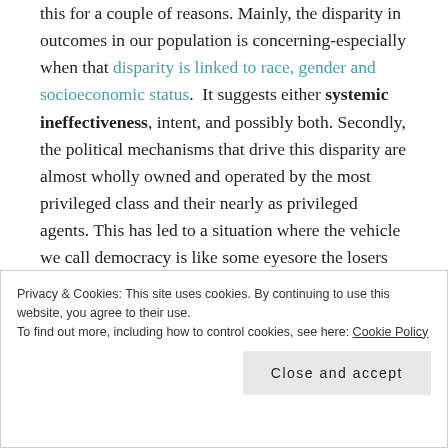this for a couple of reasons. Mainly, the disparity in outcomes in our population is concerning-especially when that disparity is linked to race, gender and socioeconomic status.  It suggests either systemic ineffectiveness, intent, and possibly both. Secondly, the political mechanisms that drive this disparity are almost wholly owned and operated by the most privileged class and their nearly as privileged agents. This has led to a situation where the vehicle we call democracy is like some eyesore the losers next door park on the lawn and tear up and down the street in at all hours. We can't really deny democracy exists, I mean it's parked right there. But it's right to wonder if it works, worry about how
Privacy & Cookies: This site uses cookies. By continuing to use this website, you agree to their use.
To find out more, including how to control cookies, see here: Cookie Policy
Close and accept
inside of it!